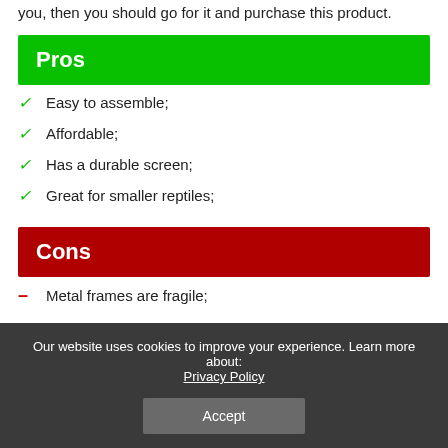you, then you should go for it and purchase this product.
Pros
Easy to assemble;
Affordable;
Has a durable screen;
Great for smaller reptiles;
Cons
Metal frames are fragile;
Door is hard to open;
Our website uses cookies to improve your experience. Learn more about: Privacy Policy
Accept